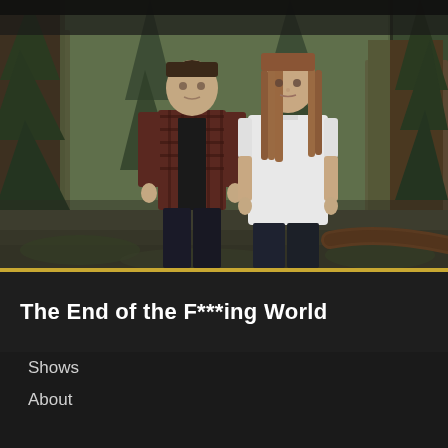[Figure (photo): Two teenagers standing in a forest. A boy on the left wearing a dark plaid flannel shirt and black jeans, and a girl on the right wearing a white t-shirt and dark jeans. Dense evergreen trees in the background.]
The End of the F***ing World
Shows
About